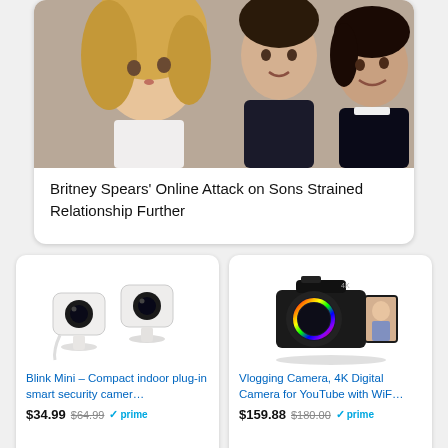[Figure (photo): Britney Spears with two teenage sons in a selfie photo]
Britney Spears' Online Attack on Sons Strained Relationship Further
[Figure (photo): Two Blink Mini compact white indoor security cameras]
Blink Mini – Compact indoor plug-in smart security camer…
$34.99  $64.99  prime
[Figure (photo): Black 4K digital vlogging camera with flip screen showing woman]
Vlogging Camera, 4K Digital Camera for YouTube with WiF…
$159.88  $180.00  prime